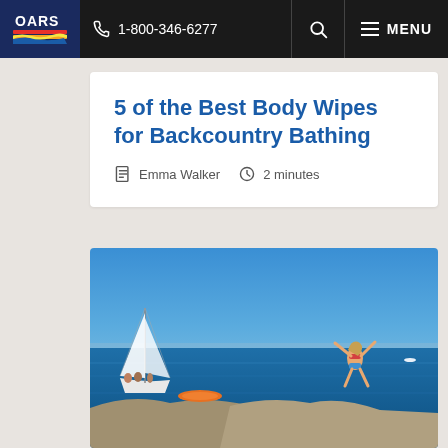1-800-346-6277 | MENU
5 of the Best Body Wipes for Backcountry Bathing
Emma Walker   2 minutes
[Figure (photo): Woman jumping off a rocky cliff into blue water with a sailboat and kayak visible below on a sunny day]